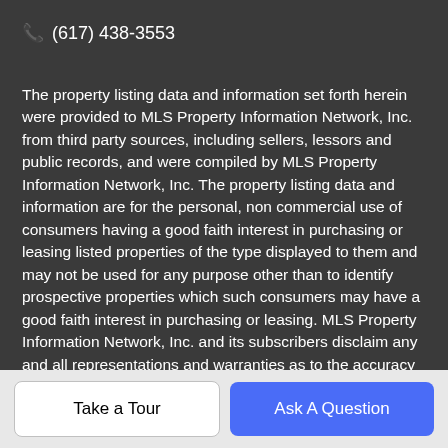📞 (617) 438-3553
The property listing data and information set forth herein were provided to MLS Property Information Network, Inc. from third party sources, including sellers, lessors and public records, and were compiled by MLS Property Information Network, Inc. The property listing data and information are for the personal, non commercial use of consumers having a good faith interest in purchasing or leasing listed properties of the type displayed to them and may not be used for any purpose other than to identify prospective properties which such consumers may have a good faith interest in purchasing or leasing. MLS Property Information Network, Inc. and its subscribers disclaim any and all representations and warranties as to the accuracy of the property listing data and information set forth herein. Data last updated 2022-08-29T00:04:28.997.
Take a Tour
Ask A Question